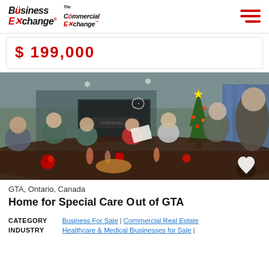Business Exchange | The Commercial Exchange
$ 199,000
[Figure (photo): Indoor photo of a group of elderly people seated around a long table at a holiday gathering/dinner event. There is a Christmas tree visible in the background, snowflake decorations, and red floral centerpieces on the table. People are socializing and some are holding papers.]
GTA, Ontario, Canada
Home for Special Care Out of GTA
|  |  |
| --- | --- |
| CATEGORY | Business For Sale | Commercial Real Estate |
| INDUSTRY | Healthcare & Medical Businesses for Sale | |